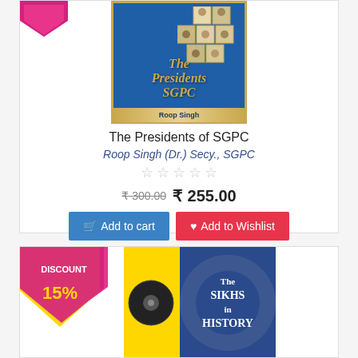[Figure (illustration): Book cover of 'The Presidents SGPC' by Roop Singh, blue cover with gold title text and small portrait photos in a grid pattern]
The Presidents of SGPC
Roop Singh (Dr.) Secy., SGPC
☆ ☆ ☆ ☆ ☆
₹ 300.00  ₹ 255.00
Add to cart  Add to Wishlist
[Figure (illustration): Partial view of second product card showing a book 'The Sikhs in History' with a yellow and blue cover, and a DISCOUNT 15% badge in pink/magenta]